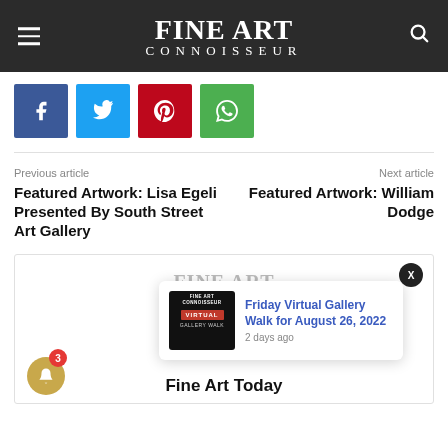FINE ART CONNOISSEUR
[Figure (screenshot): Social share buttons: Facebook (blue), Twitter (cyan), Pinterest (red), WhatsApp (green)]
Previous article
Next article
Featured Artwork: Lisa Egeli Presented By South Street Art Gallery
Featured Artwork: William Dodge
[Figure (screenshot): Fine Art Connoisseur logo watermark (gray) and notification popup showing 'Friday Virtual Gallery Walk for August 26, 2022 - 2 days ago' with thumbnail]
Fine Art Today